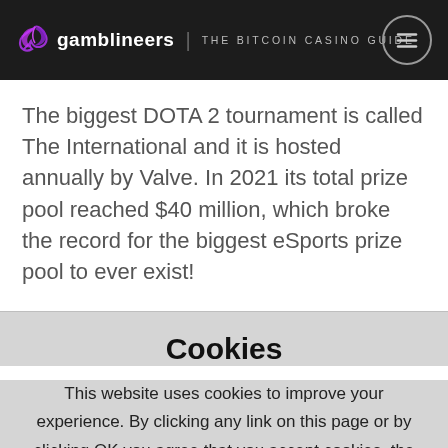gamblineers | THE BITCOIN CASINO GUIDE
The biggest DOTA 2 tournament is called The International and it is hosted annually by Valve. In 2021 its total prize pool reached $40 million, which broke the record for the biggest eSports prize pool to ever exist!
Cookies
This website uses cookies to improve your experience. By clicking any link on this page or by clicking OK you agree that you accept cookies, the Terms of Use and the Privacy and Cookies Policy. OK